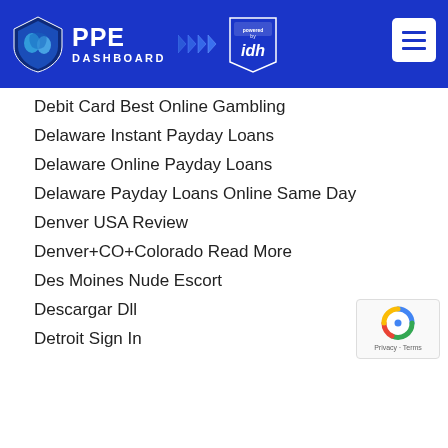[Figure (logo): PPE Dashboard logo with shield icon and 'powered by idh' badge, plus hamburger menu button on blue header background]
Debit Card Best Online Gambling
Delaware Instant Payday Loans
Delaware Online Payday Loans
Delaware Payday Loans Online Same Day
Denver USA Review
Denver+CO+Colorado Read More
Des Moines Nude Escort
Descargar Dll
Detroit Sign In